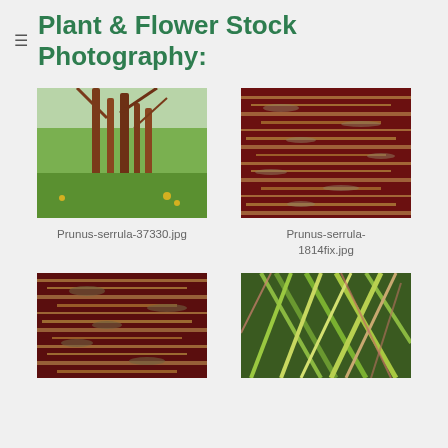Plant & Flower Stock Photography:
[Figure (photo): Prunus serrula tree with reddish-brown bark and green foliage in a garden setting]
Prunus-serrula-37330.jpg
[Figure (photo): Close-up of Prunus serrula dark red bark with horizontal lenticel markings]
Prunus-serrula-1814fix.jpg
[Figure (photo): Close-up of Prunus serrula dark red bark, partial view at bottom of page]
[Figure (photo): Close-up of grass or bamboo leaves with green, yellow and pink variegation, partial view at bottom of page]